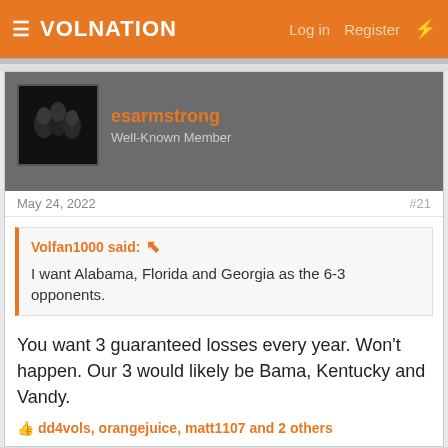VolNation   Log in   Register
esarmstrong
Well-Known Member
May 24, 2022   #21
Volfan1000 said: I want Alabama, Florida and Georgia as the 6-3 opponents.
You want 3 guaranteed losses every year. Won't happen. Our 3 would likely be Bama, Kentucky and Vandy.
dd4vols, orangejuice, matt1107 and 2 others
UTK
Well-Known Member